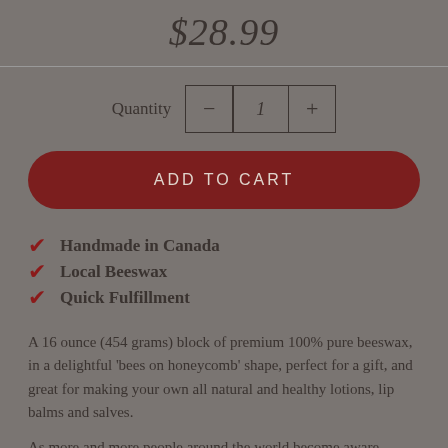$28.99
Quantity  -  1  +
ADD TO CART
Handmade in Canada
Local Beeswax
Quick Fulfillment
A 16 ounce (454 grams) block of premium 100% pure beeswax, in a delightful 'bees on honeycomb' shape, perfect for a gift, and great for making your own all natural and healthy lotions, lip balms and salves.
As more and more people around the world become aware